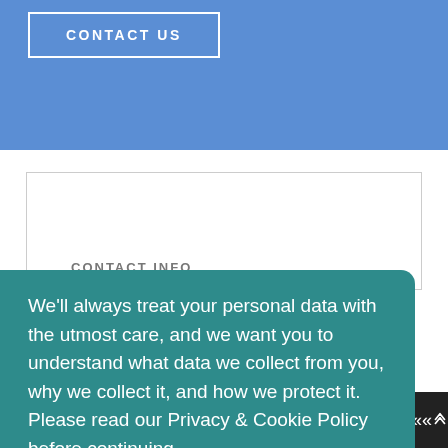[Figure (screenshot): Blue background section with CONTACT US button in white border]
CONTACT INFO
We'll always treat your personal data with the utmost care, and we want you to understand what data we collect from you, why we collect it, and how we protect it. Please read our Privacy & Cookie Policy before continuing.
Read Our Privacy and Cookie Policy
Decline
Accept
© ABOUT BLOCKED DRAINS WALSALL